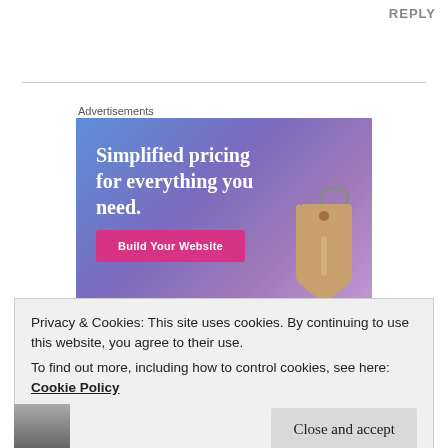REPLY
[Figure (illustration): Advertisement banner with gradient blue-purple background showing 'Simplified pricing for everything you need.' with a pink 'Build Your Website' button and a price tag illustration on the right.]
Advertisements
Privacy & Cookies: This site uses cookies. By continuing to use this website, you agree to their use.
To find out more, including how to control cookies, see here:
Cookie Policy
Close and accept